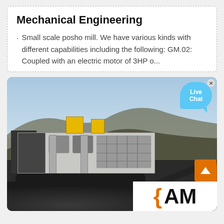Mechanical Engineering
Small scale posho mill. We have various kinds with different capabilities including the following: GM.02: Coupled with an electric motor of 3HP o...
[Figure (photo): Photograph of a large mobile rock-crushing machine/plant in an open quarry or mining site. The machine has a tracked undercarriage, conveyor arm, ladders, and yellow safety railings. A rocky hillside is visible in the background. A 'Live Chat' speech bubble appears overlaid in the top-right corner, along with an orange scroll-to-top button and a partial company logo (orange bracket and letter 'A') in the bottom-right corner.]